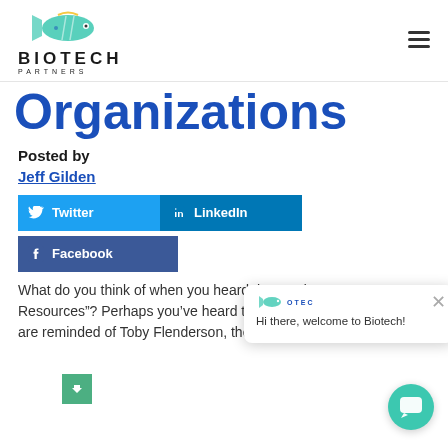[Figure (logo): Biotech Partners logo with fish illustration and text BIOTECH PARTNERS]
Organizations
Posted by
Jeff Gilden
[Figure (screenshot): Social share buttons: Twitter, LinkedIn, Facebook]
[Figure (screenshot): Chat popup overlay: Hi there, welcome to Biotech! with close button and logo]
What do you think of when you heard the words, “Human Resources”? Perhaps you’ve heard them called the “fun police” or are reminded of Toby Flenderson, the detested HR